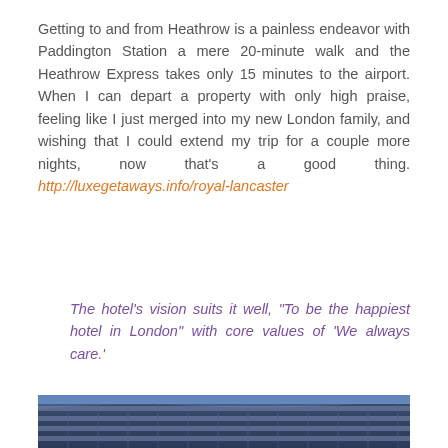Getting to and from Heathrow is a painless endeavor with Paddington Station a mere 20-minute walk and the Heathrow Express takes only 15 minutes to the airport. When I can depart a property with only high praise, feeling like I just merged into my new London family, and wishing that I could extend my trip for a couple more nights, now that's a good thing. http://luxegetaways.info/royal-lancaster
The hotel's vision suits it well, "To be the happiest hotel in London" with core values of 'We always care.'
[Figure (photo): Exterior photo of modern hotel building facade at dusk/night with blue sky, showing curved glass and steel architecture]